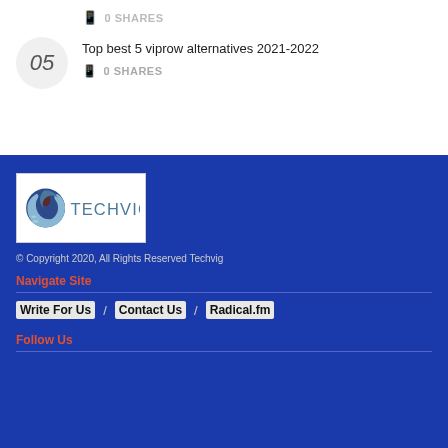0 SHARES
05  Top best 5 viprow alternatives 2021-2022
0 SHARES
[Figure (logo): Techvig logo: circular yin-yang-style symbol in dark blue and light blue with dark red center, followed by TECHVIG text in teal/steel blue on white background]
© Copyright 2020, All Rights Reserved Techvig
Navigate Site
Write For Us  /  Contact Us  /  Radical.fm
Follow Us